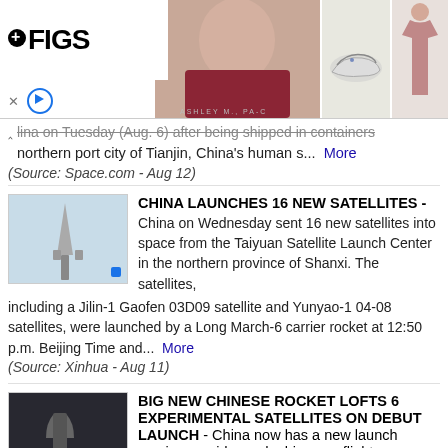[Figure (photo): FIGS advertisement banner showing logo, woman in scrubs, shoe, and clothing item]
lina on Tuesday (Aug. 6) after being shipped in containers northern port city of Tianjin, China's human s... More (Source: Space.com - Aug 12)
CHINA LAUNCHES 16 NEW SATELLITES -
China on Wednesday sent 16 new satellites into space from the Taiyuan Satellite Launch Center in the northern province of Shanxi. The satellites, including a Jilin-1 Gaofen 03D09 satellite and Yunyao-1 04-08 satellites, were launched by a Long March-6 carrier rocket at 12:50 p.m. Beijing Time and... More (Source: Xinhua - Aug 11)
BIG NEW CHINESE ROCKET LOFTS 6 EXPERIMENTAL SATELLITES ON DEBUT LAUNCH -
China now has a new launch service provider and a big, new flight-proven rocket. The four-stage Lijian 1 rocket, also referred to as ZK-1A, lifted from the Jiuquan Satellite Launch Center at 12:12 a.m. EDT (0412 GMT; 12:12 p.m. local time) on July 27, carrying six satellites into orbit on its de... More